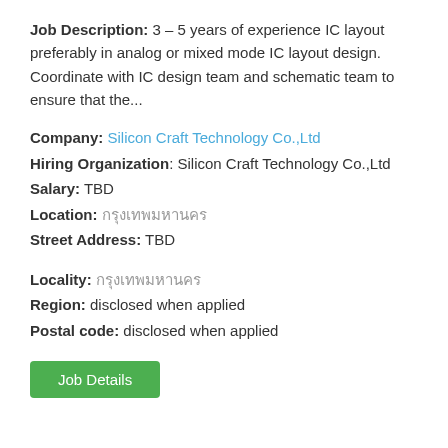Job Description: 3 – 5 years of experience IC layout preferably in analog or mixed mode IC layout design. Coordinate with IC design team and schematic team to ensure that the...
Company: Silicon Craft Technology Co.,Ltd
Hiring Organization: Silicon Craft Technology Co.,Ltd
Salary: TBD
Location: [Thai text]
Street Address: TBD
Locality: [Thai text]
Region: disclosed when applied
Postal code: disclosed when applied
[Figure (other): Green 'Job Details' button]